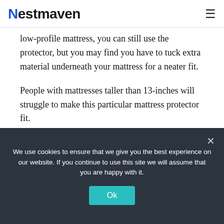Nestmaven
low-profile mattress, you can still use the protector, but you may find you have to tuck extra material underneath your mattress for a neater fit.
People with mattresses taller than 13-inches will struggle to make this particular mattress protector fit.
The Purple Mattress Protector is available in
We use cookies to ensure that we give you the best experience on our website. If you continue to use this site we will assume that you are happy with it.